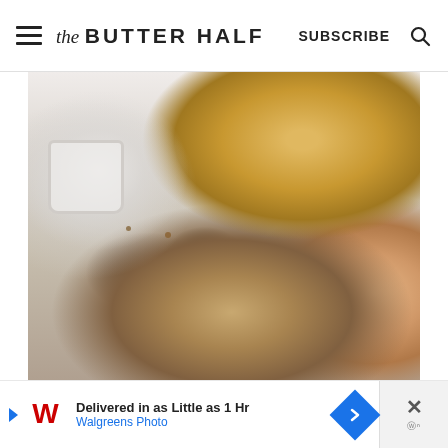The BUTTER HALF | SUBSCRIBE
[Figure (photo): A hand reaching into a baked dip dish topped with goat cheese, dark balsamic drizzle, greens and nuts. In the background a white ramekin and a bowl of toasted baguette slices on a light surface.]
Delivered in as Little as 1 Hr | Walgreens Photo